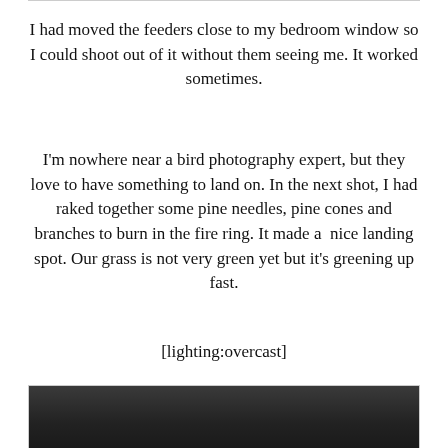I had moved the feeders close to my bedroom window so I could shoot out of it without them seeing me. It worked sometimes.
I'm nowhere near a bird photography expert, but they love to have something to land on. In the next shot, I had raked together some pine needles, pine cones and branches to burn in the fire ring. It made a  nice landing spot. Our grass is not very green yet but it's greening up fast.
[lighting:overcast]
[Figure (photo): Partial view of a photo at the bottom of the page, showing a dark outdoor scene, likely a bird photograph.]